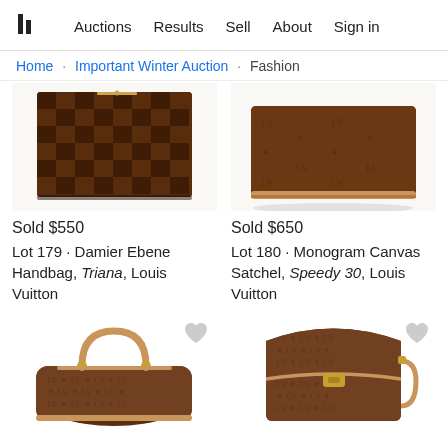Auctions  Results  Sell  About  Sign in
Home · Important Winter Auction · Fashion
[Figure (photo): Louis Vuitton Damier Ebene Triana handbag - checkered brown pattern, top view cropped]
Sold $550
Lot 179 · Damier Ebene Handbag, Triana, Louis Vuitton
[Figure (photo): Louis Vuitton Monogram Canvas Speedy 30 satchel - brown monogram, side/bottom view cropped]
Sold $650
Lot 180 · Monogram Canvas Satchel, Speedy 30, Louis Vuitton
[Figure (photo): Louis Vuitton Monogram Canvas Speedy handbag with tan handles, front view, partially visible]
[Figure (photo): Louis Vuitton Monogram Canvas crossbody/shoulder bag with tan strap, partially visible]